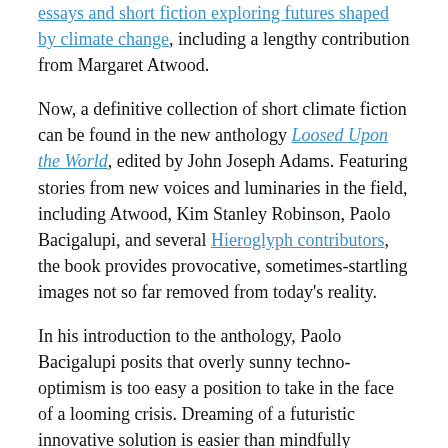essays and short fiction exploring futures shaped by climate change, including a lengthy contribution from Margaret Atwood.
Now, a definitive collection of short climate fiction can be found in the new anthology Loosed Upon the World, edited by John Joseph Adams. Featuring stories from new voices and luminaries in the field, including Atwood, Kim Stanley Robinson, Paolo Bacigalupi, and several Hieroglyph contributors, the book provides provocative, sometimes-startling images not so far removed from today's reality.
In his introduction to the anthology, Paolo Bacigalupi posits that overly sunny techno-optimism is too easy a position to take in the face of a looming crisis. Dreaming of a futuristic innovative solution is easier than mindfully confronting the social, cultural, and political challenges that bedevil us right now — several of which are examined by the authors included in the collection.
Stories featured in Loosed Upon the World include